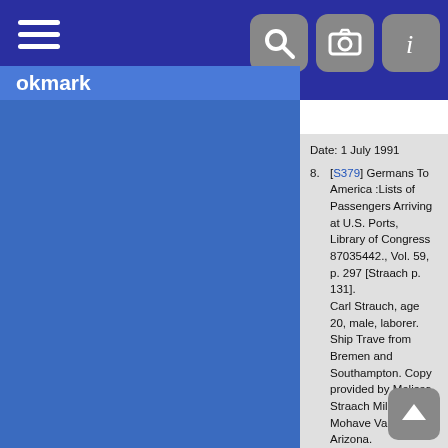Bookmark
Date: 1 July 1991
8. [S379] Germans To America :Lists of Passengers Arriving at U.S. Ports, Library of Congress 87035442., Vol. 59, p. 297 [Straach p. 131]. Carl Strauch, age 20, male, laborer. Ship Trave from Bremen and Southampton. Copy provided by Melissa Straach Mills, Mohave Valley Arizona.
9. [S479] Naturalization Declaration of Intent in Washington Co., Texas, Vol. ?, p. 80 [Straach p. 120]. The State of Texas, County of Washington, County Court. Before me, the undersigned authority, on this day personally appeard Carl Straach who declares upon oath that he is a natural born subject of Germany; that he was born in Anhalt; that he is 25 years of age; that he emigrated to the United States of America and arrived at the port of New York in the State of New York on or about the 20 day of Sept 1890; that it is his bona fide intention to become a citizen of the United